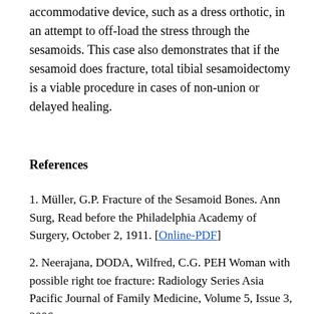accommodative device, such as a dress orthotic, in an attempt to off-load the stress through the sesamoids. This case also demonstrates that if the sesamoid does fracture, total tibial sesamoidectomy is a viable procedure in cases of non-union or delayed healing.
References
1. Müller, G.P. Fracture of the Sesamoid Bones. Ann Surg, Read before the Philadelphia Academy of Surgery, October 2, 1911. [Online-PDF]
2. Neerajana, DODA, Wilfred, C.G. PEH Woman with possible right toe fracture: Radiology Series Asia Pacific Journal of Family Medicine, Volume 5, Issue 3, 2006.